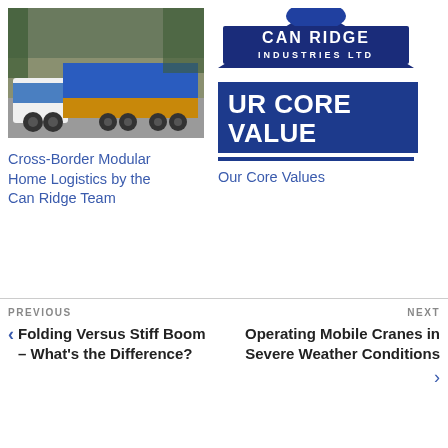[Figure (photo): A truck hauling a large modular home section with blue tarp covering, driving on a narrow road through trees.]
Cross-Border Modular Home Logistics by the Can Ridge Team
[Figure (logo): Can Ridge Industries Ltd logo - blue mountain shape with white text]
[Figure (infographic): UR CORE VALUE text in white on dark blue background with blue underline]
Our Core Values
PREVIOUS
‹ Folding Versus Stiff Boom – What's the Difference?
NEXT
Operating Mobile Cranes in Severe Weather Conditions ›